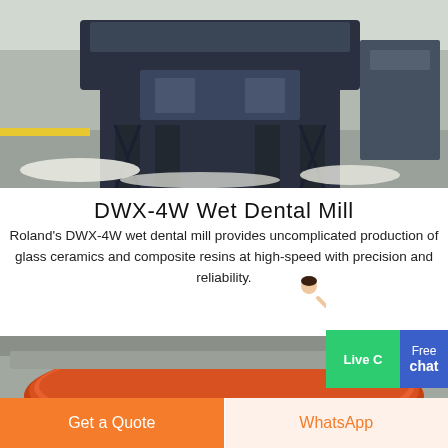[Figure (photo): Industrial milling machine on factory floor with white pellets/granules on the ground, dark blue metal frame structure]
DWX-4W Wet Dental Mill
Roland's DWX-4W wet dental mill provides uncomplicated production of glass ceramics and composite resins at high-speed with precision and reliability.
[Figure (photo): Close-up of industrial milling equipment showing a large orange/red circular grinding disc with grey metal frame and support structure]
Free chat | Live Chat
Get a Quote
WhatsApp